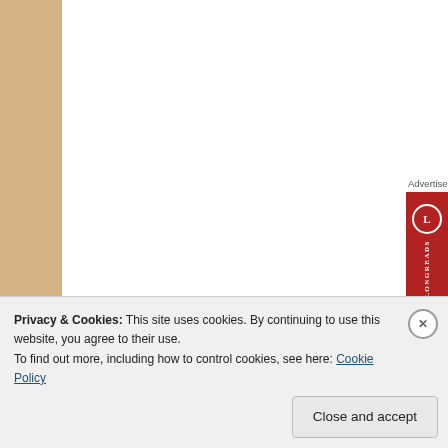[Figure (logo): Longreads advertisement banner with red background, circle L logo and LONGREADS text]
It’s time to start thinking about construction. Time to grab a coffee & read thou…
Filed under quilting and tagged crafts, foundation piecing, making, patchwork, quiltin…
The finished Landscape
Privacy & Cookies: This site uses cookies. By continuing to use this website, you agree to their use.
To find out more, including how to control cookies, see here: Cookie Policy